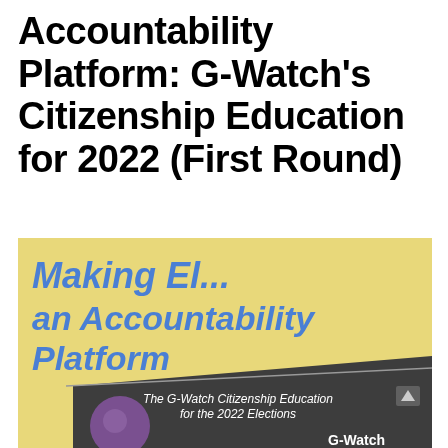Accountability Platform: G-Watch's Citizenship Education for 2022 (First Round)
Forward
[Figure (illustration): Book cover image with yellow background showing text 'Making [Elections] an Accountability Platform' in large blue italic letters, overlaid by a dark angled panel with text 'The G-Watch Citizenship Education for the 2022 Elections', a globe/ball in the lower left, and 'G-Watch' branding at bottom right.]